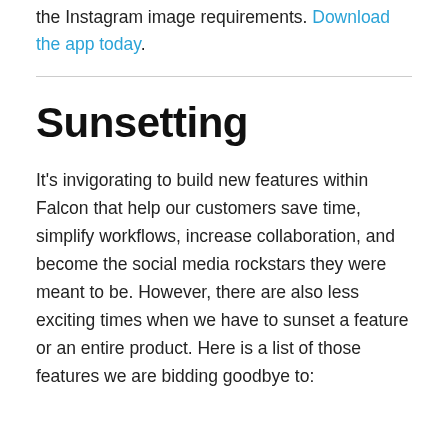the Instagram image requirements. Download the app today.
Sunsetting
It's invigorating to build new features within Falcon that help our customers save time, simplify workflows, increase collaboration, and become the social media rockstars they were meant to be. However, there are also less exciting times when we have to sunset a feature or an entire product. Here is a list of those features we are bidding goodbye to: